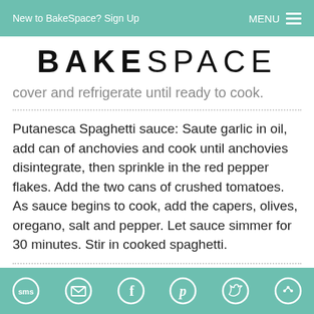New to BakeSpace? Sign Up  MENU
BAKESPACE
cover and refrigerate until ready to cook.
Putanesca Spaghetti sauce: Saute garlic in oil, add can of anchovies and cook until anchovies disintegrate, then sprinkle in the red pepper flakes. Add the two cans of crushed tomatoes. As sauce begins to cook, add the capers, olives, oregano, salt and pepper. Let sauce simmer for 30 minutes. Stir in cooked spaghetti.
SMS  Email  Facebook  Pinterest  Twitter  Share